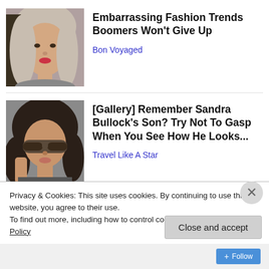[Figure (photo): Thumbnail photo of a woman with highlighted gray-brown hair, wearing makeup, smiling]
Embarrassing Fashion Trends Boomers Won't Give Up
Bon Voyaged
[Figure (photo): Thumbnail photo of a woman with dark hair and sunglasses, holding her hair]
[Gallery] Remember Sandra Bullock's Son? Try Not To Gasp When You See How He Looks...
Travel Like A Star
Privacy & Cookies: This site uses cookies. By continuing to use this website, you agree to their use. To find out more, including how to control cookies, see here: Cookie Policy